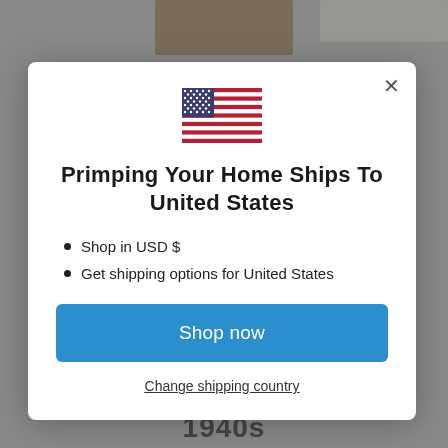[Figure (screenshot): Background showing a website with product images and '1940s' text at the bottom, overlaid by a modal dialog]
Primping Your Home ships to United States
Shop in USD $
Get shipping options for United States
Shop now
Change shipping country